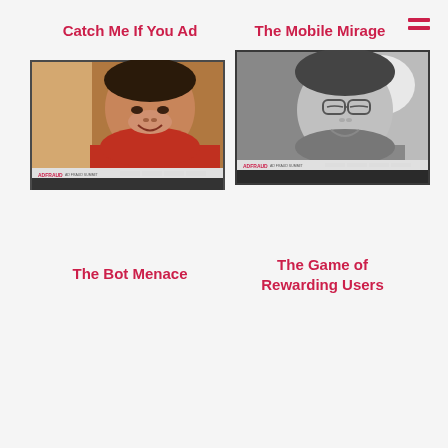Catch Me If You Ad
The Mobile Mirage
[Figure (screenshot): Video thumbnail showing a man in a red shirt smiling, with an ADFRAUD watermark/branding at the bottom]
[Figure (screenshot): Video thumbnail showing a man with glasses in grayscale/black and white, with an ADFRAUD watermark/branding at the bottom]
The Bot Menace
The Game of Rewarding Users